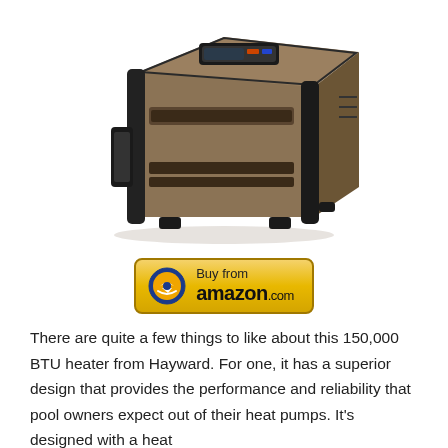[Figure (photo): A Hayward 150,000 BTU pool heat pump, shown in a 3/4 front-left perspective view. The unit is a large, box-shaped appliance with a bronze/tan metal casing and dark gray/black trim and corner caps. It features a digital control panel on top, ventilation slots, and stands on four feet.]
[Figure (other): A 'Buy from amazon.com' button with a golden/yellow gradient background and rounded corners. Features the Amazon arrow logo in a blue/gold circle on the left, and text 'Buy from' above 'amazon.com' in bold.]
There are quite a few things to like about this 150,000 BTU heater from Hayward. For one, it has a superior design that provides the performance and reliability that pool owners expect out of their heat pumps. It's designed with a heat